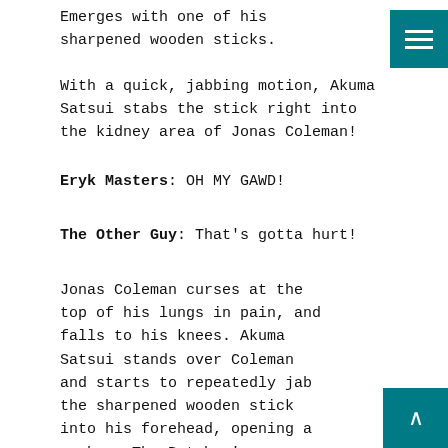Emerges with one of his sharpened wooden sticks.
With a quick, jabbing motion, Akuma Satsui stabs the stick right into the kidney area of Jonas Coleman!
Eryk Masters: OH MY GAWD!
The Other Guy: That's gotta hurt!
Jonas Coleman curses at the top of his lungs in pain, and falls to his knees. Akuma Satsui stands over Coleman and starts to repeatedly jab the sharpened wooden stick into his forehead, opening a gash on The Butcher's forehead.  Having heard Coleman's exclamation of pain, Dresden and Magnus turn around and see Satsui attacking their partner. The champs start